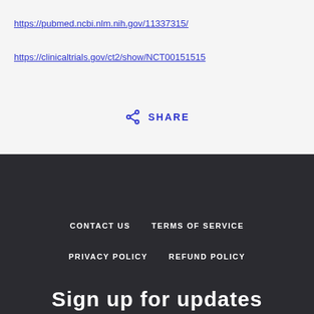https://pubmed.ncbi.nlm.nih.gov/11337315/
https://clinicaltrials.gov/ct2/show/NCT00151515
SHARE
CONTACT US   TERMS OF SERVICE   PRIVACY POLICY   REFUND POLICY
Sign up for updates